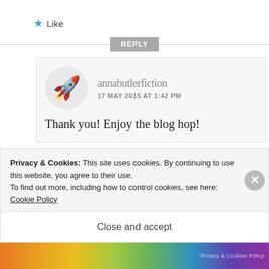★ Like
REPLY
annabutlerfiction
17 MAY 2015 AT 1:42 PM
Thank you! Enjoy the blog hop!
Privacy & Cookies: This site uses cookies. By continuing to use this website, you agree to their use.
To find out more, including how to control cookies, see here: Cookie Policy
Close and accept